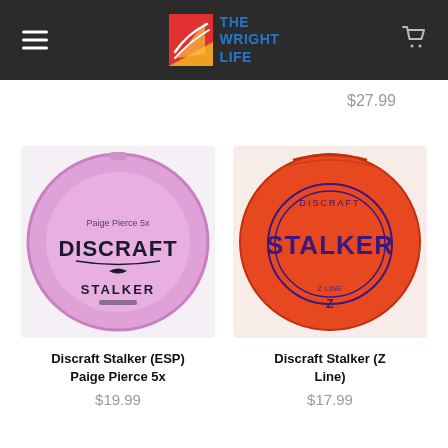The Wright Life — navigation header
$27.99
[Figure (photo): Pink Discraft Stalker ESP Paige Pierce 5x disc golf disc]
Discraft Stalker (ESP) Paige Pierce 5x
$19.99
[Figure (photo): Orange Discraft Stalker Z Line disc golf disc]
Discraft Stalker (Z Line)
$17.99